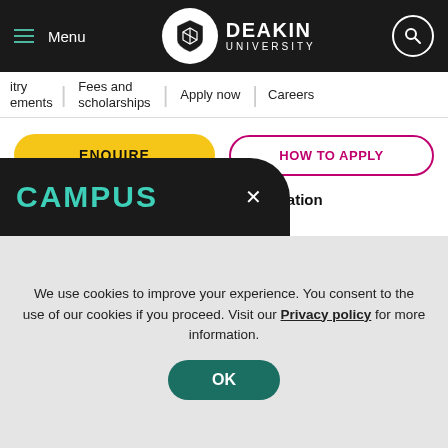Menu | Deakin University
itry | ements | Fees and scholarships | Apply now | Careers
ENQUIRE | HOW TO APPLY
Physical Activity Promotion and Evaluation
HSE212
Exercise Programming ^
CAMPUS
We use cookies to improve your experience. You consent to the use of our cookies if you proceed. Visit our Privacy policy for more information.
OK